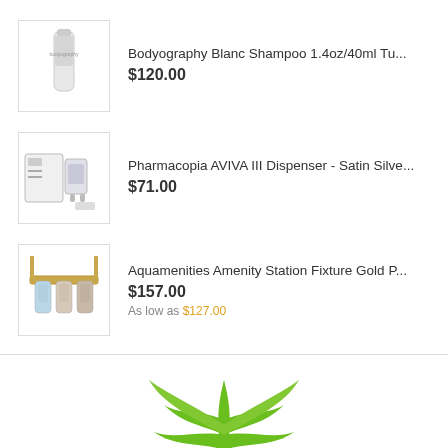[Figure (photo): Bodyography Blanc Shampoo tube product image]
Bodyography Blanc Shampoo 1.4oz/40ml Tu...
$120.00
[Figure (photo): Pharmacopia AVIVA III Dispenser - Satin Silver product image]
Pharmacopia AVIVA III Dispenser - Satin Silve...
$71.00
[Figure (photo): Aquamenities Amenity Station Fixture Gold P... product image]
Aquamenities Amenity Station Fixture Gold P...
$157.00
As low as $127.00
[Figure (logo): Green leaf/plant logo at the bottom of the page]